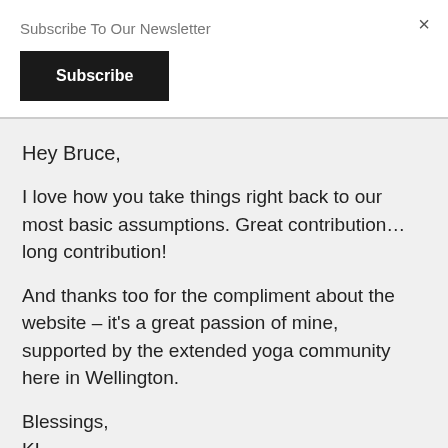Subscribe To Our Newsletter
×
Subscribe
Hey Bruce,
I love how you take things right back to our most basic assumptions. Great contribution… long contribution!
And thanks too for the compliment about the website – it's a great passion of mine, supported by the extended yoga community here in Wellington.
Blessings,
KL
Reply